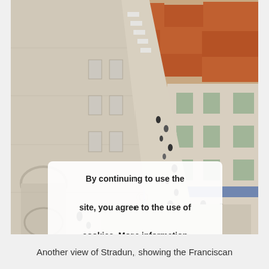[Figure (photo): Aerial view of Stradun (the main street of Dubrovnik old town), showing a long pedestrian street flanked by stone buildings with terracotta roofs, with people walking below. View from the city walls looking down the length of the promenade. Left side shows a large stone church/monastery building, right side shows stone residential buildings.]
By continuing to use the site, you agree to the use of cookies. More information
Accept
Another view of Stradun, showing the Franciscan